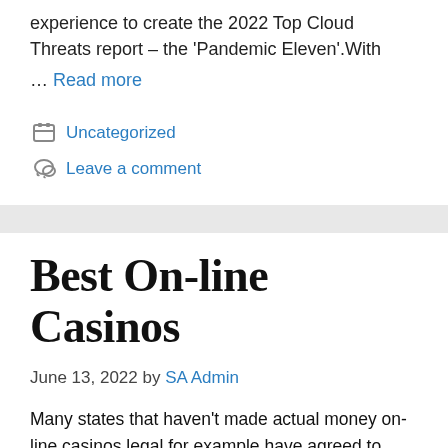experience to create the 2022 Top Cloud Threats report – the 'Pandemic Eleven'.With … Read more
Uncategorized
Leave a comment
Best On-line Casinos
June 13, 2022 by SA Admin
Many states that haven't made actual money on-line casinos legal for example have agreed to make sweepstakes casinos available to take pleasure in. According to